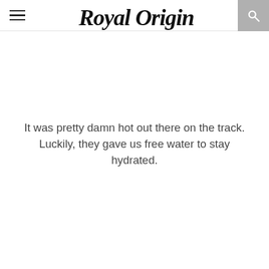Royal Origin
It was pretty damn hot out there on the track. Luckily, they gave us free water to stay hydrated.